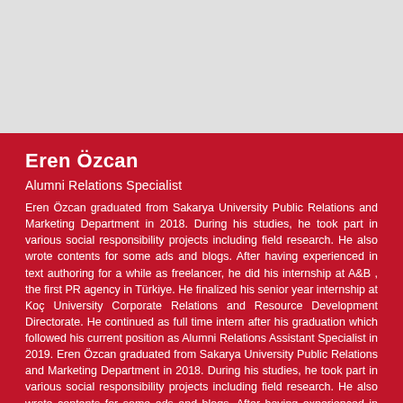[Figure (other): Gray background area at top of page, likely placeholder for a photo]
Eren Özcan
Alumni Relations Specialist
Eren Özcan graduated from Sakarya University Public Relations and Marketing Department in 2018. During his studies, he took part in various social responsibility projects including field research. He also wrote contents for some ads and blogs. After having experienced in text authoring for a while as freelancer, he did his internship at A&B , the first PR agency in Türkiye. He finalized his senior year internship at Koç University Corporate Relations and Resource Development Directorate. He continued as full time intern after his graduation which followed his current position as Alumni Relations Assistant Specialist in 2019. Eren Özcan graduated from Sakarya University Public Relations and Marketing Department in 2018. During his studies, he took part in various social responsibility projects including field research. He also wrote contents for some ads and blogs. After having experienced in text authoring for a while as freelancer, he did his internship at A&B , the first PR agency in Türkiye. He finalized his senior year